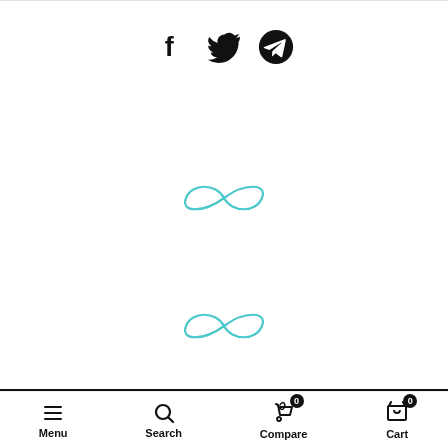[Figure (illustration): Three social sharing icons: Facebook (f), Twitter (bird), and Telegram (paper plane in circle), displayed in black]
[Figure (illustration): Teal/cyan infinity symbol (loading spinner) centered on page]
[Figure (illustration): Second teal/cyan infinity symbol (loading spinner) centered on page below the first]
Menu  Search  Compare 0  Cart 0